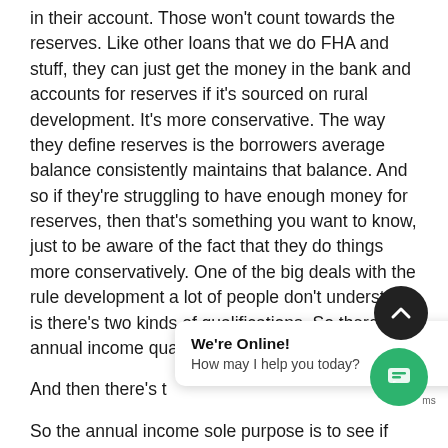in their account. Those won't count towards the reserves. Like other loans that we do FHA and stuff, they can just get the money in the bank and accounts for reserves if it's sourced on rural development. It's more conservative. The way they define reserves is the borrowers average balance consistently maintains that balance. And so if they're struggling to have enough money for reserves, then that's something you want to know, just to be aware of the fact that they do things more conservatively. One of the big deals with the rule development a lot of people don't understand is there's two kinds of qualifications. So there's the annual income qualification.
And then there's t
So the annual income sole purpose is to see if they
[Figure (screenshot): Live chat widget popup showing 'We're Online!' and 'How may I help you today?' with a dark circular scroll-to-top button and a green circular chat button in the bottom right corner.]